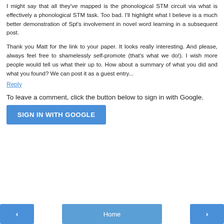I might say that all they've mapped is the phonological STM circuit via what is effectively a phonological STM task. Too bad. I'll highlight what I believe is a much better demonstration of Spt's involvement in novel word learning in a subsequent post.
Thank you Matt for the link to your paper. It looks really interesting. And please, always feel free to shamelessly self-promote (that's what we do!). I wish more people would tell us what their up to. How about a summary of what you did and what you found? We can post it as a guest entry...
Reply
To leave a comment, click the button below to sign in with Google.
SIGN IN WITH GOOGLE
< Home >